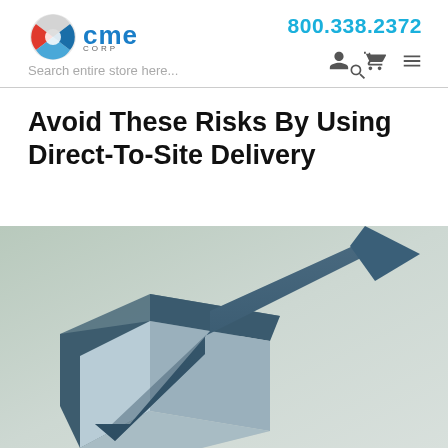CME Corp | 800.338.2372
Avoid These Risks By Using Direct-To-Site Delivery
[Figure (illustration): 3D illustration of a dark blue arrow pointing upward-right, rising out of an open square hole or pit, symbolizing growth or escape from risk. Background is light gray-green gradient.]